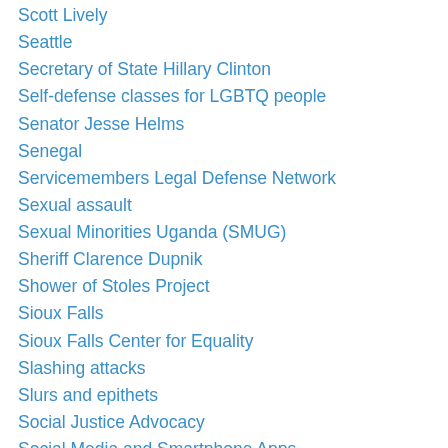Scott Lively
Seattle
Secretary of State Hillary Clinton
Self-defense classes for LGBTQ people
Senator Jesse Helms
Senegal
Servicemembers Legal Defense Network
Sexual assault
Sexual Minorities Uganda (SMUG)
Sheriff Clarence Dupnik
Shower of Stoles Project
Sioux Falls
Sioux Falls Center for Equality
Slashing attacks
Slurs and epithets
Social Justice Advocacy
Social Media and Smartphone Apps
soft homophobia
song
SOS Homophobie